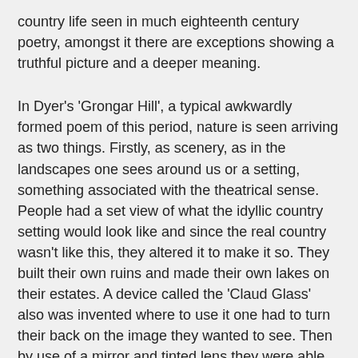country life seen in much eighteenth century poetry, amongst it there are exceptions showing a truthful picture and a deeper meaning.
In Dyer's 'Grongar Hill', a typical awkwardly formed poem of this period, nature is seen arriving as two things. Firstly, as scenery, as in the landscapes one sees around us or a setting, something associated with the theatrical sense. People had a set view of what the idyllic country setting would look like and since the real country wasn't like this, they altered it to make it so. They built their own ruins and made their own lakes on their estates. A device called the 'Claud Glass' also was invented where to use it one had to turn their back on the image they wanted to see. Then by use of a mirror and tinted lens they were able to see the image as a picturesque Claud painting. This image of people turning their backs on nature to see something picturesque, essentially like a picture is a very good metaphor for what was happening in poetry such as Dyer's at this stage. This poem contains no subtlety. It has an obvious, insistent form